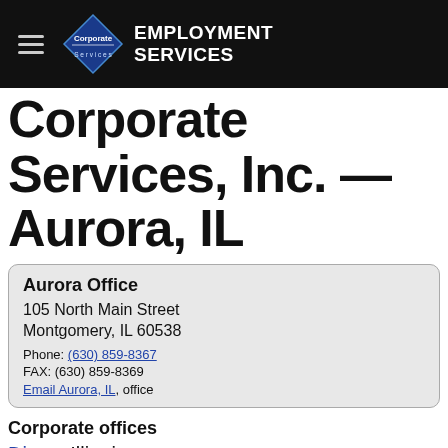Corporate Services Employment Services
Corporate Services, Inc. — Aurora, IL
Aurora Office
105 North Main Street
Montgomery, IL 60538
Phone: (630) 859-8367
FAX: (630) 859-8369
Email Aurora, IL, office
Corporate offices
Dixon, Illinois
Rockford, Illinois